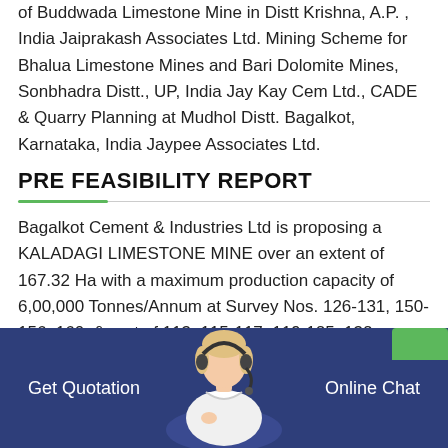of Buddwada Limestone Mine in Distt Krishna, A.P. , India Jaiprakash Associates Ltd. Mining Scheme for Bhalua Limestone Mines and Bari Dolomite Mines, Sonbhadra Distt., UP, India Jay Kay Cem Ltd., CADE & Quarry Planning at Mudhol Distt. Bagalkot, Karnataka, India Jaypee Associates Ltd.
PRE FEASIBILITY REPORT
Bagalkot Cement & Industries Ltd is proposing a KALADAGI LIMESTONE MINE over an extent of 167.32 Ha with a maximum production capacity of 6,00,000 Tonnes/Annum at Survey Nos. 126-131, 150-156, 160, & part of 113, 115-117, 119-125, 132,
[Figure (photo): Customer service representative with headset, overlaid on dark blue footer bar with 'Get Quotation' and 'Online Chat' text.]